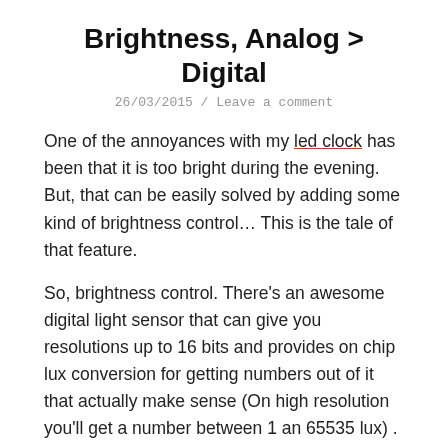Brightness, Analog > Digital
26/03/2015 / Leave a comment
One of the annoyances with my led clock has been that it is too bright during the evening. But, that can be easily solved by adding some kind of brightness control… This is the tale of that feature.
So, brightness control. There's an awesome digital light sensor that can give you resolutions up to 16 bits and provides on chip lux conversion for getting numbers out of it that actually make sense (On high resolution you'll get a number between 1 an 65535 lux) . It's called a BH1750 and it is cheaply available everywhere. Connecting it over I2C is a breeze and there are lots of good libraries